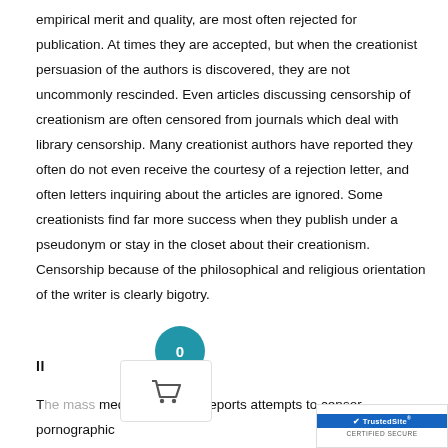empirical merit and quality, are most often rejected for publication. At times they are accepted, but when the creationist persuasion of the authors is discovered, they are not uncommonly rescinded. Even articles discussing censorship of creationism are often censored from journals which deal with library censorship. Many creationist authors have reported they often do not even receive the courtesy of a rejection letter, and often letters inquiring about the articles are ignored. Some creationists find far more success when they publish under a pseudonym or stay in the closet about their creationism. Censorship because of the philosophical and religious orientation of the writer is clearly bigotry.
II                            ON
The mass media commonly reports attempts to censor pornographic literature from libraries, yet rarely discusses a far more harm